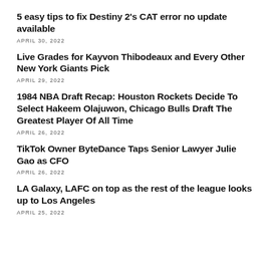5 easy tips to fix Destiny 2's CAT error no update available
APRIL 30, 2022
Live Grades for Kayvon Thibodeaux and Every Other New York Giants Pick
APRIL 29, 2022
1984 NBA Draft Recap: Houston Rockets Decide To Select Hakeem Olajuwon, Chicago Bulls Draft The Greatest Player Of All Time
APRIL 26, 2022
TikTok Owner ByteDance Taps Senior Lawyer Julie Gao as CFO
APRIL 26, 2022
LA Galaxy, LAFC on top as the rest of the league looks up to Los Angeles
APRIL 25, 2022